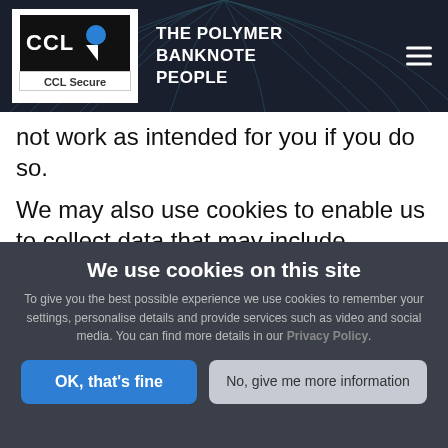[Figure (logo): CCL Secure logo with 'THE POLYMER BANKNOTE PEOPLE' text and hamburger menu icon on dark background with wave pattern]
not work as intended for you if you do so.
We may also use cookies to enable us to collect data that may include personal information. For example, where a cookie is
We use cookies on this site
To give you the best possible experience we use cookies to remember your settings, personalise details and provide services such as video and social media. You can find more details in our Privacy Policy.
OK, that's fine
No, give me more information